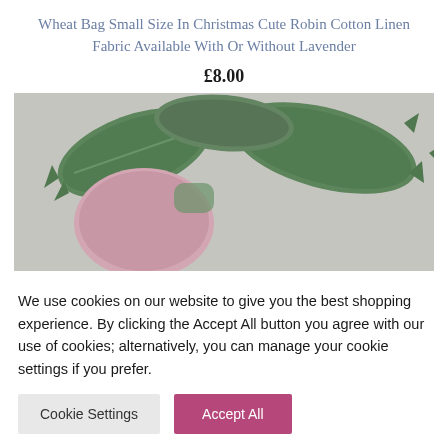Wheat Bag Small Size In Christmas Cute Robin Cotton Linen Fabric Available With Or Without Lavender
£8.00
[Figure (photo): Close-up photo of holly leaves with a pink robin wheat bag visible, placed on a light background]
We use cookies on our website to give you the best shopping experience. By clicking the Accept All button you agree with our use of cookies; alternatively, you can manage your cookie settings if you prefer.